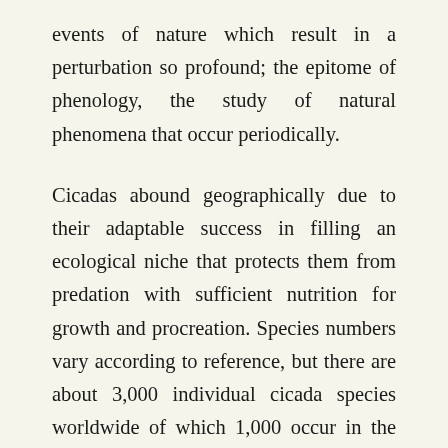events of nature which result in a perturbation so profound; the epitome of phenology, the study of natural phenomena that occur periodically.
Cicadas abound geographically due to their adaptable success in filling an ecological niche that protects them from predation with sufficient nutrition for growth and procreation. Species numbers vary according to reference, but there are about 3,000 individual cicada species worldwide of which 1,000 occur in the Western Hemisphere; mostly in tropical environments. The periodical cicadas are among the 180 species endemic to the United States and southern Canada. Cicadas are in the order Hemiptera (half-wing in Latin) known as the 'true bugs' and are differentiated taxonomically into a suborder, Homoptera (same-wing), due to their